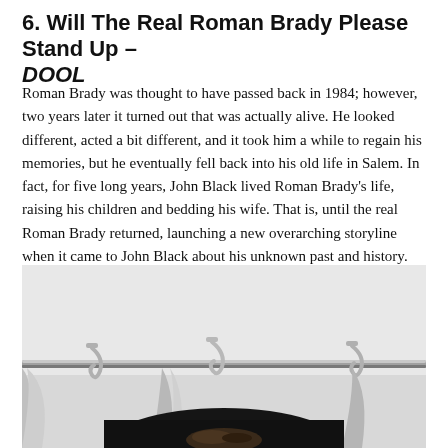6. Will The Real Roman Brady Please Stand Up – DOOL
Roman Brady was thought to have passed back in 1984; however, two years later it turned out that was actually alive. He looked different, acted a bit different, and it took him a while to regain his memories, but he eventually fell back into his old life in Salem. In fact, for five long years, John Black lived Roman Brady's life, raising his children and bedding his wife. That is, until the real Roman Brady returned, launching a new overarching storyline when it came to John Black about his unknown past and history.
[Figure (photo): A person photographed from roughly chest up, partially visible at the bottom of the frame, under a tent or canopy structure with hooks and a metal rod visible at the top. The background is a gray/white canopy fabric with black shadow areas below.]